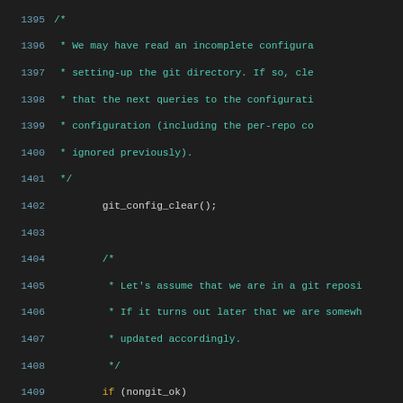Source code listing, lines 1395–1424, C programming language with syntax highlighting